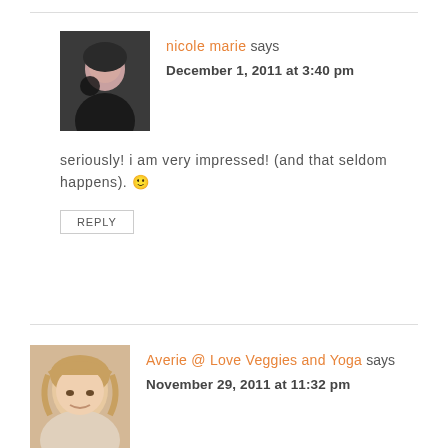[Figure (photo): Avatar photo of nicole marie, a woman holding something, dark background]
nicole marie says
December 1, 2011 at 3:40 pm
seriously! i am very impressed! (and that seldom happens). 🙂
REPLY
[Figure (photo): Avatar photo of Averie, a blonde woman smiling]
Averie @ Love Veggies and Yoga says
November 29, 2011 at 11:32 pm
Omg...I am in shock! You're...a minor! And not even by a little bit. By 5+ years til you're even...